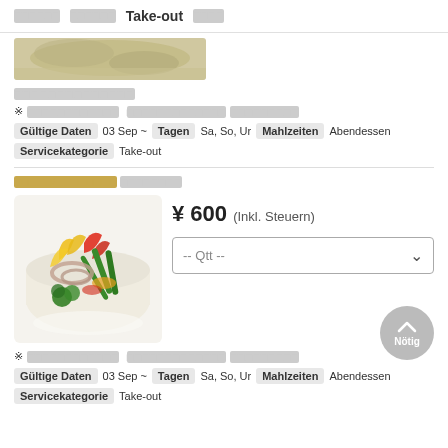□□□□□□  □□□□□□  Take-out  □□□□
[Figure (photo): Partial view of a food dish photo, cropped at top]
□□□□□□□□□□□□□□
※□□□□□□□□□□□□  □□□□□□□□□□□□□ □□□□□□□□□
Gültige Daten  03 Sep ~  Tagen  Sa, So, Ur  Mahlzeiten  Abendessen
Servicekategorie  Take-out
□□□□□/□□□□□□□□□□□□□□
[Figure (photo): White bowl with colorful marinated vegetables including yellow peppers, red peppers, green beans, onions, and broccoli]
¥ 600 (Inkl. Steuern)
-- Qtt --
※□□□□□□□□□□□□  □□□□□□□□□□□□□ □□□□□□□□□
Gültige Daten  03 Sep ~  Tagen  Sa, So, Ur  Mahlzeiten  Abendessen
Servicekategorie  Take-out